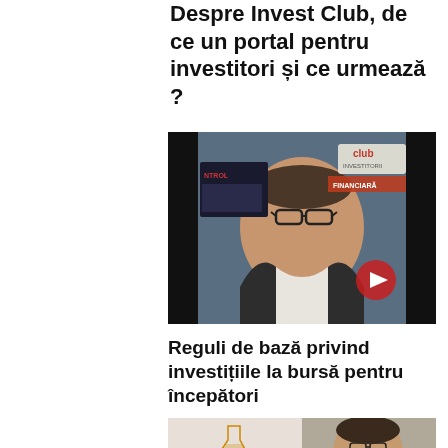Despre Invest Club, de ce un portal pentru investitori și ce urmează ?
[Figure (photo): Video thumbnail showing a man wearing glasses and a dark jacket speaking, with an 'Invest Club' banner and 'FINANCIARĂ' visible in the background. A red play button is shown in the lower right corner.]
Reguli de bază privind investițiile la bursă pentru începători
[Figure (photo): Partial video thumbnail showing the Invest Club logo (flask icon with 'investclub' and 'CLUBUL INVESTITORILOR' text) on the left, and a man with glasses visible on the right.]